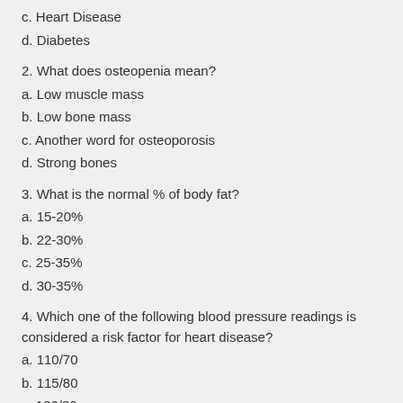c. Heart Disease
d. Diabetes
2. What does osteopenia mean?
a. Low muscle mass
b. Low bone mass
c. Another word for osteoporosis
d. Strong bones
3. What is the normal % of body fat?
a. 15-20%
b. 22-30%
c. 25-35%
d. 30-35%
4. Which one of the following blood pressure readings is considered a risk factor for heart disease?
a. 110/70
b. 115/80
c. 120/80
d. 140/90